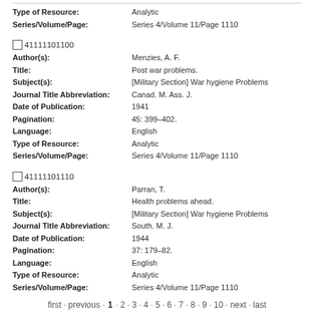Type of Resource: Analytic
Series/Volume/Page: Series 4/Volume 11/Page 1110
41111101100
Author(s): Menzies, A. F.
Title: Post war problems.
Subject(s): [Military Section] War hygiene Problems
Journal Title Abbreviation: Canad. M. Ass. J.
Date of Publication: 1941
Pagination: 45: 399-402.
Language: English
Type of Resource: Analytic
Series/Volume/Page: Series 4/Volume 11/Page 1110
41111101110
Author(s): Parran, T.
Title: Health problems ahead.
Subject(s): [Military Section] War hygiene Problems
Journal Title Abbreviation: South. M. J.
Date of Publication: 1944
Pagination: 37: 179-82.
Language: English
Type of Resource: Analytic
Series/Volume/Page: Series 4/Volume 11/Page 1110
first · previous · 1 · 2 · 3 · 4 · 5 · 6 · 7 · 8 · 9 · 10 · next · last
Search History